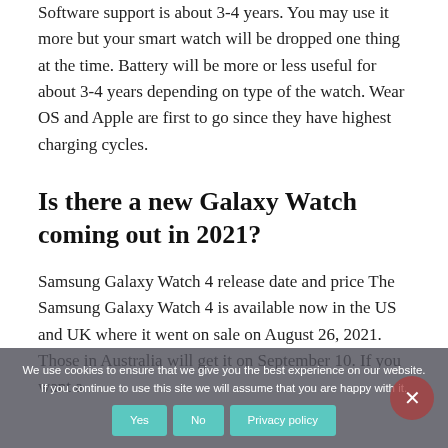Software support is about 3-4 years. You may use it more but your smart watch will be dropped one thing at the time. Battery will be more or less useful for about 3-4 years depending on type of the watch. Wear OS and Apple are first to go since they have highest charging cycles.
Is there a new Galaxy Watch coming out in 2021?
Samsung Galaxy Watch 4 release date and price The Samsung Galaxy Watch 4 is available now in the US and UK where it went on sale on August 26, 2021. Those in Australia will get it on September 10. If you want a